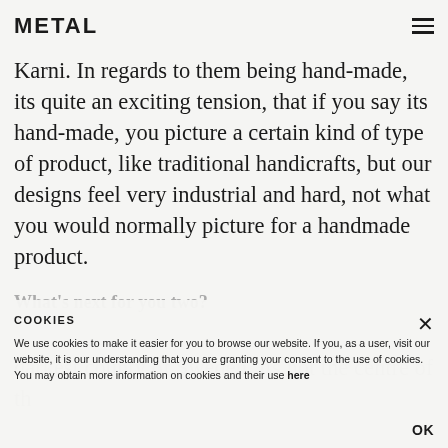METAL
Karni. In regards to them being hand-made, its quite an exciting tension, that if you say its hand-made, you picture a certain kind of type of product, like traditional handicrafts, but our designs feel very industrial and hard, not what you would normally picture for a handmade product.
What's next for you two?
COOKIES
We use cookies to make it easier for you to browse our website. If you, as a user, visit our website, it is our understanding that you are granting your consent to the use of cookies. You may obtain more information on cookies and their use here
OK
darkest county of Sweden. Its not the centre of the world, its quite outside everything, but it has a